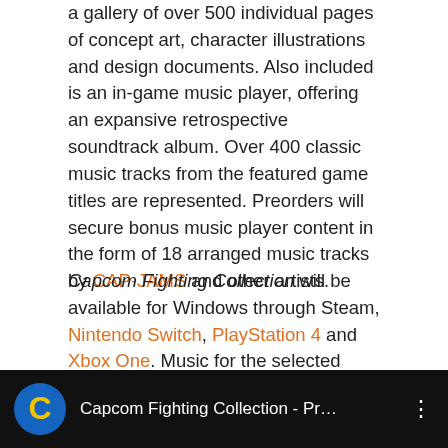a gallery of over 500 individual pages of concept art, character illustrations and design documents. Also included is an in-game music player, offering an expansive retrospective soundtrack album. Over 400 classic music tracks from the featured game titles are represented. Preorders will secure bonus music player content in the form of 18 arranged music tracks by CAP-JAMS and other artists.
Capcom Fighting Collection will be available for Windows through Steam, Nintendo Switch, PlayStation 4 and Xbox One. Music for the selected titles is composed by Yoko Shimomura, Takayuki Iwai, Hideki Okugawa, and Akari Kaida, among others.
[Figure (screenshot): Video thumbnail bar showing Capcom Fighting Collection YouTube video with Capcom logo icon and title 'Capcom Fighting Collection - Pr...' on black background with a three-dot menu icon.]